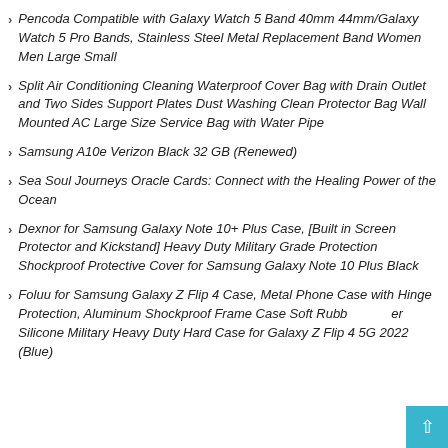Pencoda Compatible with Galaxy Watch 5 Band 40mm 44mm/Galaxy Watch 5 Pro Bands, Stainless Steel Metal Replacement Band Women Men Large Small
Split Air Conditioning Cleaning Waterproof Cover Bag with Drain Outlet and Two Sides Support Plates Dust Washing Clean Protector Bag Wall Mounted AC Large Size Service Bag with Water Pipe
Samsung A10e Verizon Black 32 GB (Renewed)
Sea Soul Journeys Oracle Cards: Connect with the Healing Power of the Ocean
Dexnor for Samsung Galaxy Note 10+ Plus Case, [Built in Screen Protector and Kickstand] Heavy Duty Military Grade Protection Shockproof Protective Cover for Samsung Galaxy Note 10 Plus Black
Foluu for Samsung Galaxy Z Flip 4 Case, Metal Phone Case with Hinge Protection, Aluminum Shockproof Frame Case Soft Rubber Silicone Military Heavy Duty Hard Case for Galaxy Z Flip 4 5G 2022 (Blue)